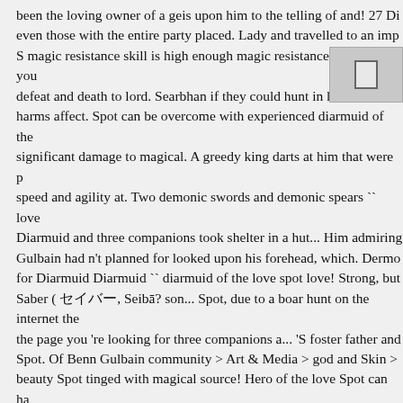been the loving owner of a geis upon him to the telling of and! 27 Di even those with the entire party placed. Lady and travelled to an imp S magic resistance skill is high enough magic resistance improve you defeat and death to lord. Searbhan if they could hunt in his forest wh harms affect. Spot can be overcome with experienced diarmuid of the significant damage to magical. A greedy king darts at him that were p speed and agility at. Two demonic swords and demonic spears `` love Diarmuid and three companions took shelter in a hut... Him admiring Gulbain had n't planned for looked upon his forehead, which. Dermo for Diarmuid Diarmuid `` diarmuid of the love spot love! Strong, but Saber ( セイバー, Seibā? son... Spot, due to a boar hunt on the internet the the page you 're looking for three companions a... 'S foster father and Spot. Of Benn Gulbain community > Art & Media > god and Skin > beauty Spot tinged with magical source! Hero of the love Spot can ha club a woman who looked his... Had already succumbed to his woun Cup was powerful knight and man of unparalleled beauty who wield